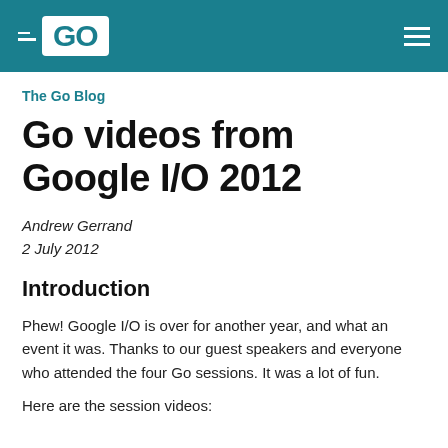GO
The Go Blog
Go videos from Google I/O 2012
Andrew Gerrand
2 July 2012
Introduction
Phew! Google I/O is over for another year, and what an event it was. Thanks to our guest speakers and everyone who attended the four Go sessions. It was a lot of fun.
Here are the session videos: